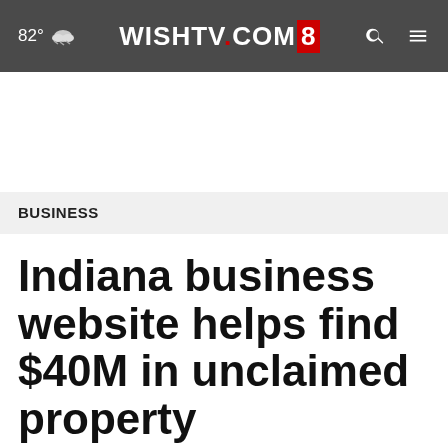82° WISHTV.COM8
BUSINESS
Indiana business website helps find $40M in unclaimed property